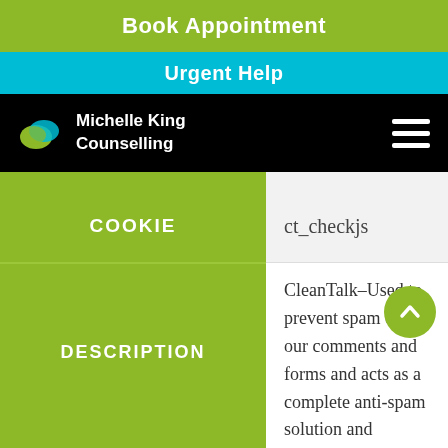Book Appointment
Urgent Help
[Figure (logo): Michelle King Counselling logo with speech bubble icons in green and blue, white text on black navigation bar with hamburger menu icon]
| COOKIE | DESCRIPTION |
| --- | --- |
| ct_checkjs | CleanTalk–Used to prevent spam on our comments and forms and acts as a complete anti-spam solution and... |
[Figure (other): Green circular scroll-to-top button with upward chevron]